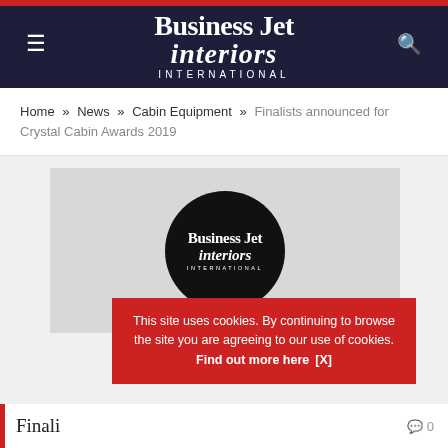Business Jet interiors INTERNATIONAL
Home » News » Cabin Equipment » Finalists announced for Crystal Cabin Awards 2019
[Figure (logo): Business Jet Interiors International logo on dark background circle, placed on a gray leather-texture background]
This site uses cookies. By continuing to browse the site you are agreeing to our use of cookies. Find out more here [X]
Finali...